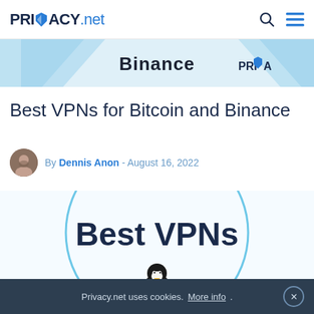PRIVACY.net
[Figure (screenshot): Banner showing Binance logo and Privacy.net logo on light blue background with diagonal shapes]
Best VPNs for Bitcoin and Binance
By Dennis Anon - August 16, 2022
[Figure (illustration): Hero image showing 'Best VPNs' text in dark blue on a circular light blue background with a Linux Tux penguin mascot below]
Privacy.net uses cookies. More info.